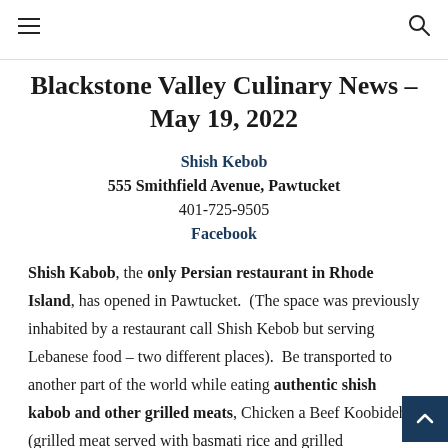≡  🔍
Blackstone Valley Culinary News – May 19, 2022
Shish Kebob
555 Smithfield Avenue, Pawtucket
401-725-9505
Facebook
Shish Kabob, the only Persian restaurant in Rhode Island, has opened in Pawtucket. (The space was previously inhabited by a restaurant call Shish Kebob but serving Lebanese food – two different places). Be transported to another part of the world while eating authentic shish kabob and other grilled meats, Chicken a Beef Koobideh (grilled meat served with basmati rice and grilled